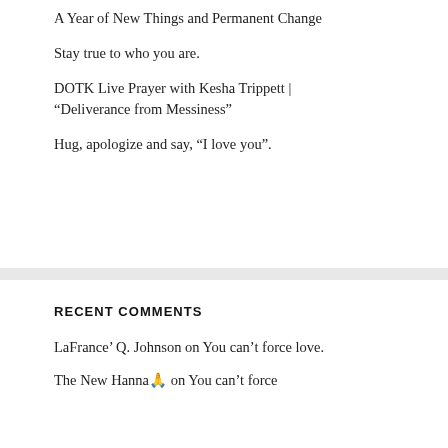A Year of New Things and Permanent Change
Stay true to who you are.
DOTK Live Prayer with Kesha Trippett | “Deliverance from Messiness”
Hug, apologize and say, “I love you”.
RECENT COMMENTS
LaFrance’ Q. Johnson on You can’t force love.
The New Hanna🤲 on You can’t force